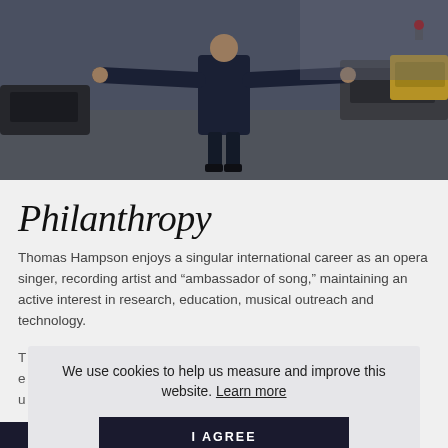[Figure (photo): A man in a dark suit standing in a city street with arms outstretched, urban background with cars]
Philanthropy
Thomas Hampson enjoys a singular international career as an opera singer, recording artist and “ambassador of song,” maintaining an active interest in research, education, musical outreach and technology.
We use cookies to help us measure and improve this website. Learn more
I AGREE